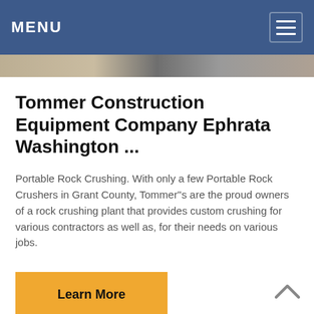MENU
Tommer Construction Equipment Company Ephrata Washington ...
Portable Rock Crushing. With only a few Portable Rock Crushers in Grant County, Tommer"s are the proud owners of a rock crushing plant that provides custom crushing for various contractors as well as, for their needs on various jobs.
Learn More